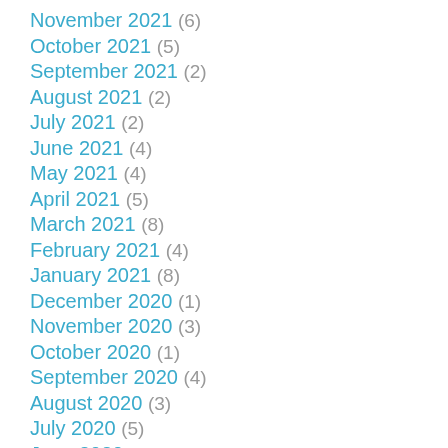November 2021 (6)
October 2021 (5)
September 2021 (2)
August 2021 (2)
July 2021 (2)
June 2021 (4)
May 2021 (4)
April 2021 (5)
March 2021 (8)
February 2021 (4)
January 2021 (8)
December 2020 (1)
November 2020 (3)
October 2020 (1)
September 2020 (4)
August 2020 (3)
July 2020 (5)
June 2020 (2)
May 2020 (1)